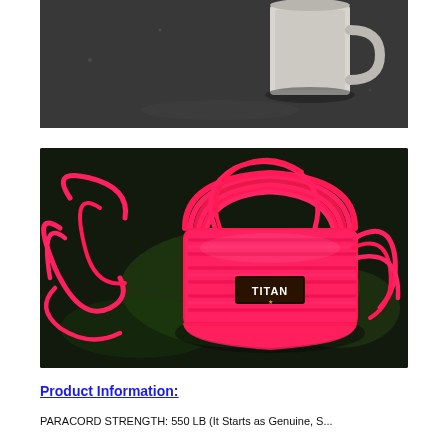[Figure (photo): A ceramic mug sitting on a dark granite or marble surface, viewed from above at an angle. The mug is light beige/grey color. The surface is dark with speckled pattern.]
[Figure (photo): A coil of bright neon pink/red paracord with a black TITAN brand label/strap wrapped around the bundle, sitting on a dark reflective surface. The cord is bundled neatly with loose ends spread out.]
Product Information:
PARACORD STRENGTH: 550 LB (It Starts as Genuine, S...